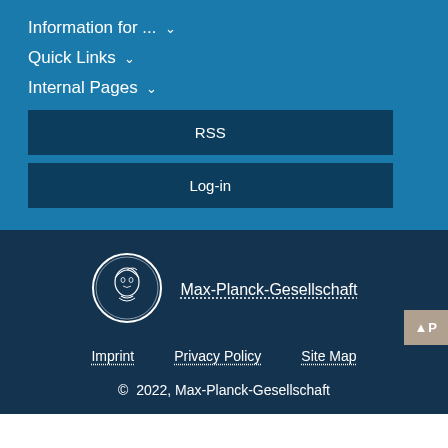Information for ... ∨
Quick Links ∨
Internal Pages ∨
RSS
Log-in
[Figure (logo): Max-Planck-Gesellschaft circular logo with Minerva head portrait]
Max-Planck-Gesellschaft
Imprint    Privacy Policy    Site Map
© 2022, Max-Planck-Gesellschaft